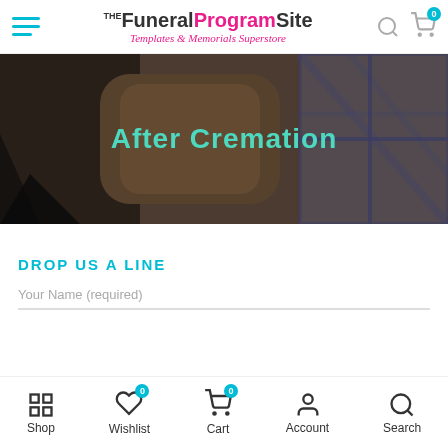The Funeral Program Site – Templates & Memorials Superstore
[Figure (screenshot): Hero banner image showing cremation-related items (urns, textiles) with dark overlay and text 'After Cremation' in teal]
After Cremation
DROP US A LINE
Your Name (required)
Shop | Wishlist (0) | Cart (0) | Account | Search